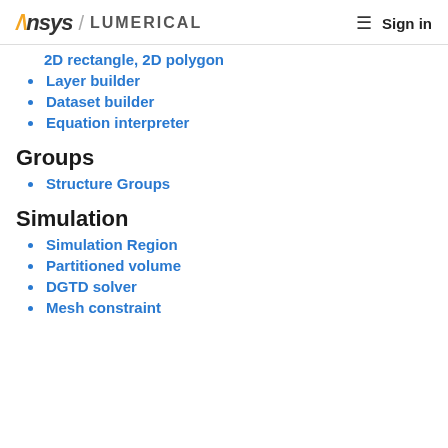Ansys / LUMERICAL   ☰ Sign in
2D rectangle, 2D polygon
Layer builder
Dataset builder
Equation interpreter
Groups
Structure Groups
Simulation
Simulation Region
Partitioned volume
DGTD solver
Mesh constraint